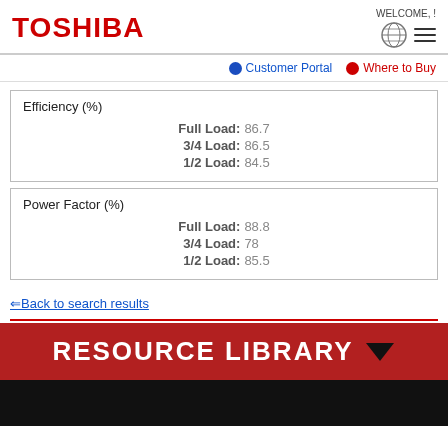[Figure (logo): Toshiba logo in red bold text]
WELCOME, !
Customer Portal  Where to Buy
| Efficiency (%) |  |
| --- | --- |
| Full Load: | 86.7 |
| 3/4 Load: | 86.5 |
| 1/2 Load: | 84.5 |
| Power Factor (%) |  |
| --- | --- |
| Full Load: | 88.8 |
| 3/4 Load: | 78 |
| 1/2 Load: | 85.5 |
⇐ Back to search results
RESOURCE LIBRARY